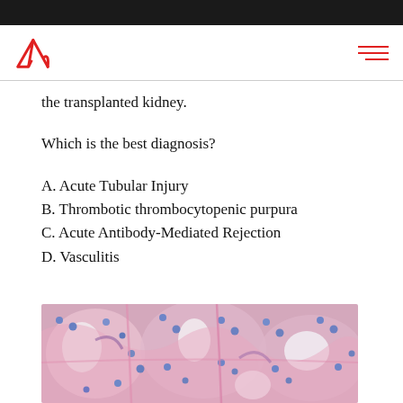the transplanted kidney.
Which is the best diagnosis?
A. Acute Tubular Injury
B. Thrombotic thrombocytopenic purpura
C. Acute Antibody-Mediated Rejection
D. Vasculitis
[Figure (photo): Microscopy image of kidney tissue showing tubular structures with pink/purple staining (H&E), with small blue nuclei visible, consistent with renal histopathology.]